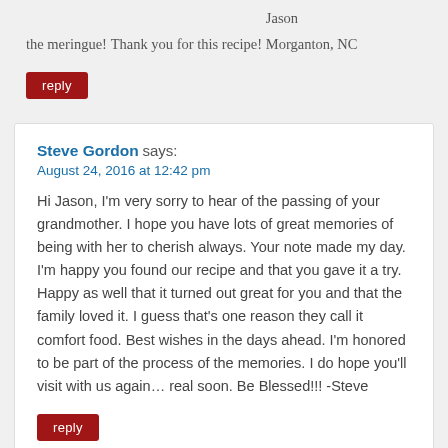the meringue!
Thank you for this recipe!
Jason
Morganton, NC
reply
Steve Gordon says:
August 24, 2016 at 12:42 pm
Hi Jason, I'm very sorry to hear of the passing of your grandmother. I hope you have lots of great memories of being with her to cherish always. Your note made my day. I'm happy you found our recipe and that you gave it a try. Happy as well that it turned out great for you and that the family loved it. I guess that's one reason they call it comfort food. Best wishes in the days ahead. I'm honored to be part of the process of the memories. I do hope you'll visit with us again… real soon. Be Blessed!!! -Steve
reply